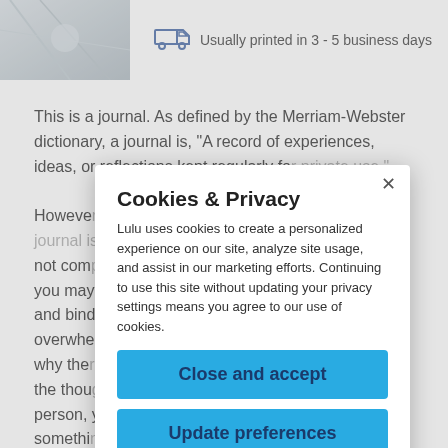[Figure (photo): Partial product image showing crinkled paper or journal pages, light gray tones]
Usually printed in 3 - 5 business days
This is a journal. As defined by the Merriam-Webster dictionary, a journal is, "A record of experiences, ideas, or reflections kept regularly for private use."
However, [text obscured by modal]; in fact, you [text obscured] nal is not com[text obscured] ough you may [text obscured] of paper and bind[text obscured] overwhe[text obscured] That is why ther[text obscured] ied with the thou[text obscured] old person, y[text obscured] somethi[text obscured] Charms and are [text obscured] opefully you, dear owner of this journal, will discover some fresh ways of
Cookies & Privacy
Lulu uses cookies to create a personalized experience on our site, analyze site usage, and assist in our marketing efforts. Continuing to use this site without updating your privacy settings means you agree to our use of cookies.
Close and accept
Update preferences
Privacy Policy